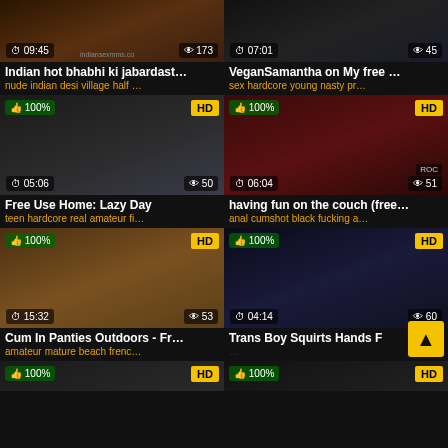[Figure (screenshot): Video thumbnail grid showing adult video listings with titles, tags, view counts, duration overlays, and HD badges]
Indian hot bhabhi ki jabardast...
nude indian desi village half ...
VeganSamantha on My free ...
sex hardcore young nasty pr...
Free Use Home: Lazy Day
teen hardcore real amateur fi...
having fun on the couch (free...
anal cumshot black fucking a...
Cum In Panties Outdoors - Fr...
amateur mature beach frenc...
Trans Boy Squirts Hands F